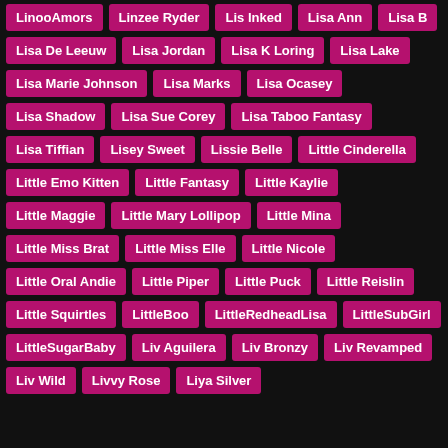LinooAmors
Linzee Ryder
Lis Inked
Lisa Ann
Lisa B
Lisa De Leeuw
Lisa Jordan
Lisa K Loring
Lisa Lake
Lisa Marie Johnson
Lisa Marks
Lisa Ocasey
Lisa Shadow
Lisa Sue Corey
Lisa Taboo Fantasy
Lisa Tiffian
Lisey Sweet
Lissie Belle
Little Cinderella
Little Emo Kitten
Little Fantasy
Little Kaylie
Little Maggie
Little Mary Lollipop
Little Mina
Little Miss Brat
Little Miss Elle
Little Nicole
Little Oral Andie
Little Piper
Little Puck
Little Reislin
Little Squirtles
LittleBoo
LittleRedheadLisa
LittleSubGirl
LittleSugarBaby
Liv Aguilera
Liv Bronzy
Liv Revamped
Liv Wild
Livvy Rose
Liya Silver